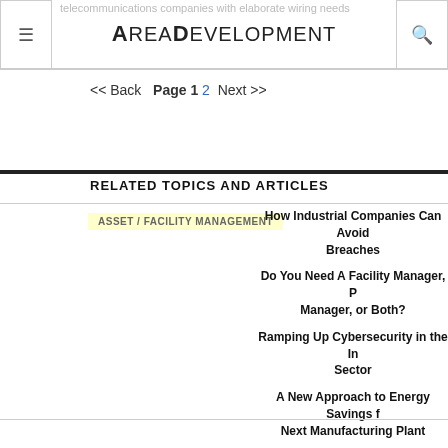AreaDevelopment
telecommunications companies with elaborate wiring needs
<< Back  Page 1 2  Next >>
RELATED TOPICS AND ARTICLES
ASSET / FACILITY MANAGEMENT
How Industrial Companies Can Avoid Breaches
Do You Need A Facility Manager, P Manager, or Both?
Ramping Up Cybersecurity in the In Sector
A New Approach to Energy Savings f Next Manufacturing Plant
First Person: Handling Plant Shutdo Re-Openings During the Pander